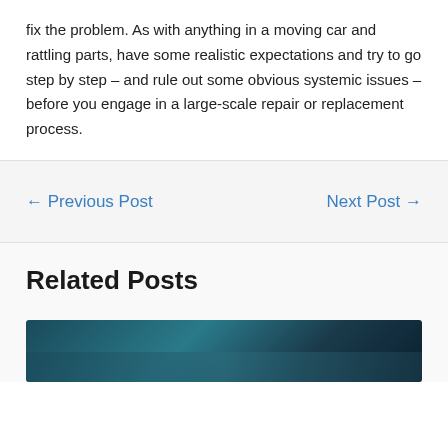fix the problem. As with anything in a moving car and rattling parts, have some realistic expectations and try to go step by step – and rule out some obvious systemic issues – before you engage in a large-scale repair or replacement process.
← Previous Post
Next Post →
Related Posts
[Figure (photo): A partial photo showing what appears to be a car-related image with dark teal/blue tones, partially visible at the bottom of the page.]